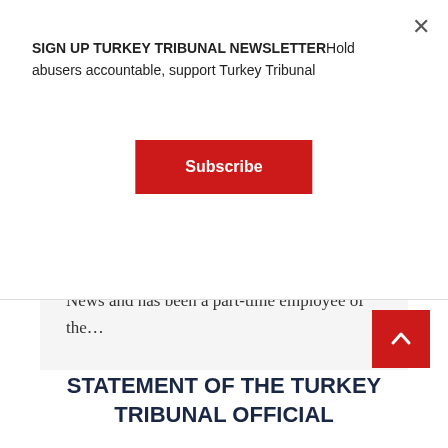SIGN UP TURKEY TRIBUNAL NEWSLETTERHold abusers accountable, support Turkey Tribunal
Subscribe
regularly serving as a field producer for CBS News and has been a part-time employee of the…
[Figure (other): PDF document icon inside a dashed circle]
STATEMENT OF THE TURKEY TRIBUNAL OFFICIAL